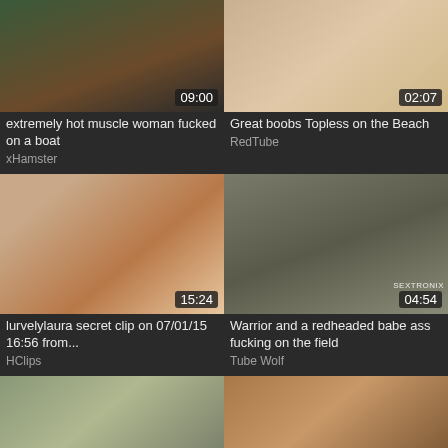[Figure (photo): Video thumbnail: extremely hot muscle woman on a boat, 09:00 duration]
extremely hot muscle woman fucked on a boat
xHamster
[Figure (photo): Video thumbnail: Great boobs Topless on the Beach, 02:07 duration]
Great boobs Topless on the Beach
RedTube
[Figure (photo): Video thumbnail: lurvelylaura secret clip on 07/01/15 16:56 from..., 15:24 duration]
lurvelylaura secret clip on 07/01/15 16:56 from...
HClips
[Figure (photo): Video thumbnail: Warrior and a redheaded babe ass fucking on the field, 04:54 duration]
Warrior and a redheaded babe ass fucking on the field
Tube Wolf
[Figure (photo): Video thumbnail: Russian anxiety, 05:56 duration]
Russian anxiety
[Figure (photo): Video thumbnail: Girls Out West - Franky grinds her hairy cunt, 06:49 duration]
Girls Out West - Franky grinds her hairy cunt